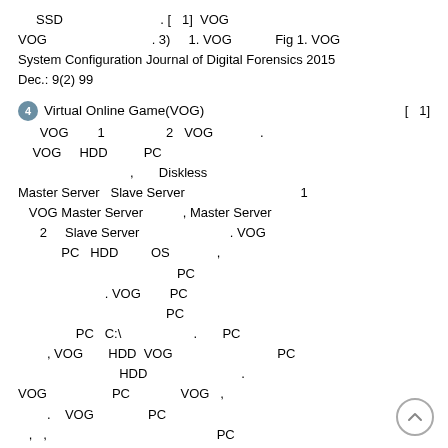SSD                          . [   1]  VOG
VOG                          . 3)     1. VOG            Fig 1. VOG
System Configuration Journal of Digital Forensics 2015
Dec.: 9(2) 99
4  Virtual Online Game(VOG)                              [   1]
VOG          1                   2   VOG             .
   VOG     HDD          PC
                                    ,       Diskless
Master Server   Slave Server                                      1
   VOG Master Server            , Master Server
      2     Slave Server                              . VOG
            PC   HDD          OS             ,
                                                     PC
                        . VOG        PC
                                          PC
                PC  C:\                     .       PC
        , VOG       HDD  VOG                              PC
                              HDD                          .
VOG                  PC              VOG   ,
        .   VOG              PC
   ,   ,                                             PC